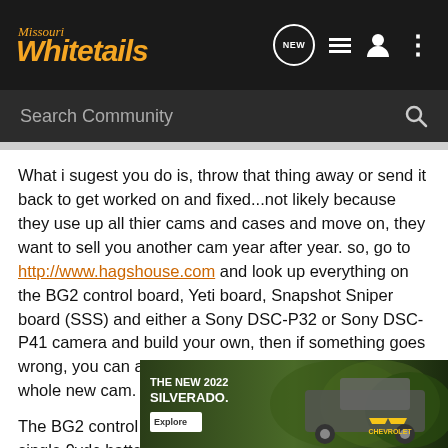Missouri Whitetails
Search Community
What i sugest you do is, throw that thing away or send it back to get worked on and fixed...not likely because they use up all thier cams and cases and move on, they want to sell you another cam year after year. so, go to http://www.hagshouse.com and look up everything on the BG2 control board, Yeti board, Snapshot Sniper board (SSS) and either a Sony DSC-P32 or Sony DSC-P41 camera and build your own, then if something goes wrong, you can actually fix it without having to buy a whole new cam.
The BG2 control board...Will run for 9 months on a single 9vdc battery...actually it will run for over a year, i have been testing one for [ad] of this board w[ad]ve.
[Figure (screenshot): Chevrolet advertisement for The New 2022 Silverado with an Explore button and Chevrolet logo, overlaid on truck image with green background]